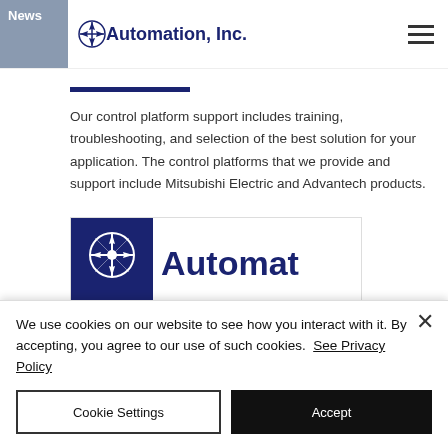News | Automation, Inc.
Our control platform support includes training, troubleshooting, and selection of the best solution for your application. The control platforms that we provide and support include Mitsubishi Electric and Advantech products.
[Figure (logo): Automation, Inc. company logo banner showing blue box with gear/compass icon and blue text 'Automat' (partially visible)]
We use cookies on our website to see how you interact with it. By accepting, you agree to our use of such cookies. See Privacy Policy